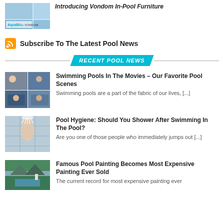[Figure (photo): Thumbnail image with AquaBlu and VONDOM logos]
Introducing Vondom In-Pool Furniture
AquaBlu + VONDOM
Subscribe To The Latest Pool News
RECENT POOL NEWS
[Figure (photo): Collage of swimming pool movie scenes]
Swimming Pools In The Movies – Our Favorite Pool Scenes
Swimming pools are a part of the fabric of our lives, [...]
[Figure (photo): Person showering after swimming]
Pool Hygiene: Should You Shower After Swimming In The Pool?
Are you one of those people who immediately jumps out [...]
[Figure (photo): Famous pool painting - landscape]
Famous Pool Painting Becomes Most Expensive Painting Ever Sold
The current record for most expensive painting ever